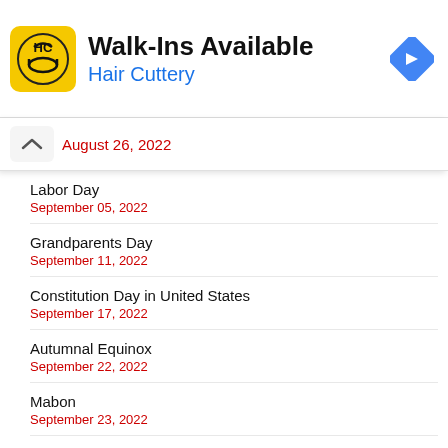[Figure (logo): Hair Cuttery advertisement banner with HC logo, 'Walk-Ins Available' title, and blue navigation arrow icon]
August 26, 2022
Labor Day
September 05, 2022
Grandparents Day
September 11, 2022
Constitution Day in United States
September 17, 2022
Autumnal Equinox
September 22, 2022
Mabon
September 23, 2022